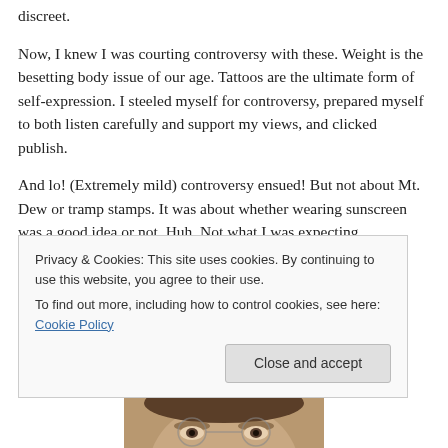discreet.
Now, I knew I was courting controversy with these. Weight is the besetting body issue of our age. Tattoos are the ultimate form of self-expression. I steeled myself for controversy, prepared myself to both listen carefully and support my views, and clicked publish.
And lo! (Extremely mild) controversy ensued! But not about Mt. Dew or tramp stamps. It was about whether wearing sunscreen was a good idea or not. Huh. Not what I was expecting.
Privacy & Cookies: This site uses cookies. By continuing to use this website, you agree to their use.
To find out more, including how to control cookies, see here: Cookie Policy
[Figure (photo): Partial photo of a person's face visible at the bottom of the page, cropped]